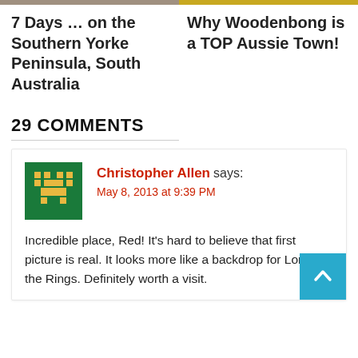[Figure (photo): Partial image strip at top left (brownish/terrain photo cropped)]
[Figure (photo): Partial image strip at top right (golden/wheat colored photo cropped)]
7 Days … on the Southern Yorke Peninsula, South Australia
Why Woodenbong is a TOP Aussie Town!
29 COMMENTS
[Figure (illustration): Pixel art avatar icon: green background with golden pixel character (space invader style)]
Christopher Allen says:
May 8, 2013 at 9:39 PM
Incredible place, Red! It's hard to believe that first picture is real. It looks more like a backdrop for Lord of the Rings. Definitely worth a visit.